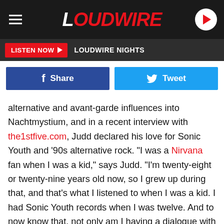LOUDWIRE
LISTEN NOW ▶  LOUDWIRE NIGHTS
[Figure (screenshot): Facebook Share and Twitter Tweet social share buttons]
alternative and avant-garde influences into Nachtmystium, and in a recent interview with the1stfive.com, Judd declared his love for Sonic Youth and '90s alternative rock. "I was a Nirvana fan when I was a kid," says Judd. "I'm twenty-eight or twenty-nine years old now, so I grew up during that, and that's what I listened to when I was a kid. I had Sonic Youth records when I was twelve. And to now know that, not only am I having a dialogue with this person about anything, but dude's gonna join a band I started, and it's like...woah. F—ing amazing, amazing feeling."